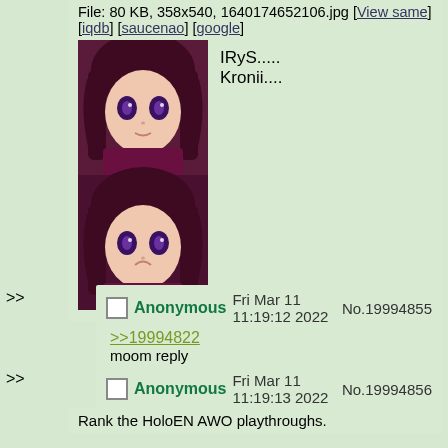File: 80 KB, 358x540, 1640174652106.jpg [View same] [iqdb] [saucenao] [google]
[Figure (illustration): Anime character with red/dark hair and purple eyes, shown twice (two stacked frames)]
IRyS.....
Kronii....
>> Anonymous Fri Mar 11 11:19:12 2022 No.19994855
>>19994822
moom reply
>> Anonymous Fri Mar 11 11:19:13 2022 No.19994856
Rank the HoloEN AWO playthroughs.
>> Anonymous Fri Mar 11 11:19:13 2022 No.19994857
WONDERLUST
>> Anonymous Fri Mar 11 11:19:14 2022 No.19994858
File: 86 KB, 622x1046, 1646378393233.jpg [View same]